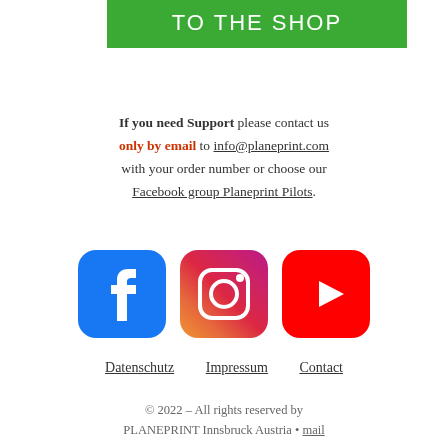TO THE SHOP
If you need Support please contact us only by email to info@planeprint.com with your order number or choose our Facebook group Planeprint Pilots.
[Figure (logo): Facebook, Instagram, and YouTube social media icons side by side]
Datenschutz   Impressum   Contact
© 2022 – All rights reserved by PLANEPRINT Innsbruck Austria • mail